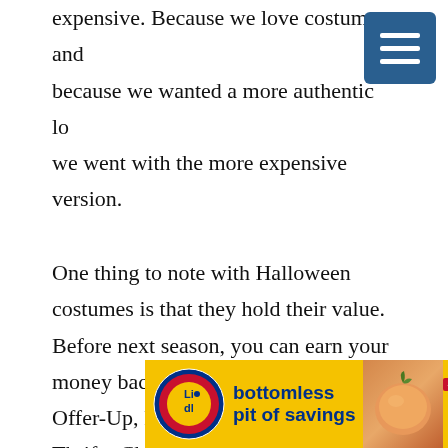expensive. Because we love costumes and because we wanted a more authentic lo… we went with the more expensive version.
[Figure (other): Hamburger menu icon button — dark blue/teal square with three white horizontal lines]
One thing to note with Halloween costumes is that they hold their value. Before next season, you can earn your money back by selling them on EBAY, Offer-Up, Facebook Marketplace, Thrifty Chic or Craigslist.
[Figure (other): Lidl advertisement banner: yellow background, Lidl logo on left, text 'bottomless pit of savings' in blue bold text, peaches image, price £1.79 with -$1.20 savings badge]